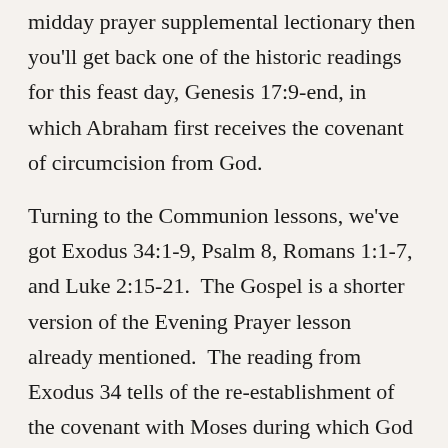midday prayer supplemental lectionary then you'll get back one of the historic readings for this feast day, Genesis 17:9-end, in which Abraham first receives the covenant of circumcision from God.
Turning to the Communion lessons, we've got Exodus 34:1-9, Psalm 8, Romans 1:1-7, and Luke 2:15-21. The Gospel is a shorter version of the Evening Prayer lesson already mentioned. The reading from Exodus 34 tells of the re-establishment of the covenant with Moses during which God declares one form of his name: “The Lord, the Lord, a God merciful and gracious, slow to anger, and abounding in steadfast love and faithfulness,